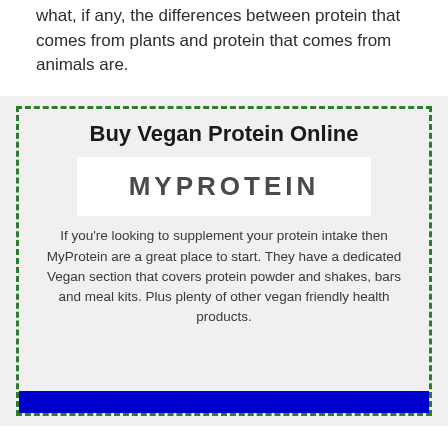what, if any, the differences between protein that comes from plants and protein that comes from animals are.
Buy Vegan Protein Online
[Figure (logo): MyProtein logo in bold uppercase grey lettering on white background]
If you're looking to supplement your protein intake then MyProtein are a great place to start. They have a dedicated Vegan section that covers protein powder and shakes, bars and meal kits. Plus plenty of other vegan friendly health products.